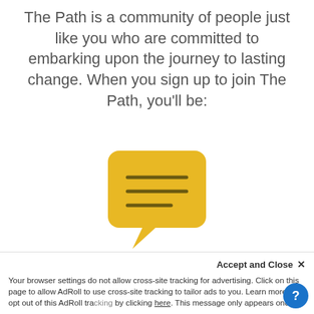The Path is a community of people just like you who are committed to embarking upon the journey to lasting change. When you sign up to join The Path, you'll be:
[Figure (illustration): A yellow speech bubble / chat message icon with three horizontal lines inside, on a white background]
Informed
We'll equip you with the information you need...
Your browser settings do not allow cross-site tracking for advertising. Click on this page to allow AdRoll to use cross-site tracking to tailor ads to you. Learn more or opt out of this AdRoll tracking by clicking here. This message only appears once.